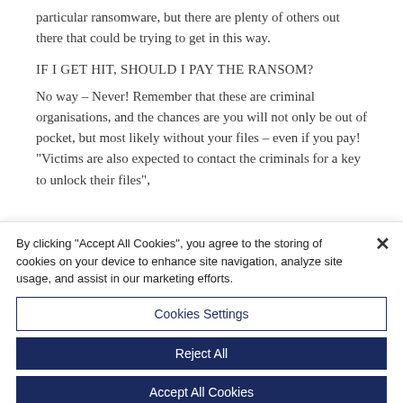particular ransomware, but there are plenty of others out there that could be trying to get in this way.
IF I GET HIT, SHOULD I PAY THE RANSOM?
No way – Never! Remember that these are criminal organisations, and the chances are you will not only be out of pocket, but most likely without your files – even if you pay! "Victims are also expected to contact the criminals for a key to unlock their files",
By clicking "Accept All Cookies", you agree to the storing of cookies on your device to enhance site navigation, analyze site usage, and assist in our marketing efforts.
Cookies Settings
Reject All
Accept All Cookies